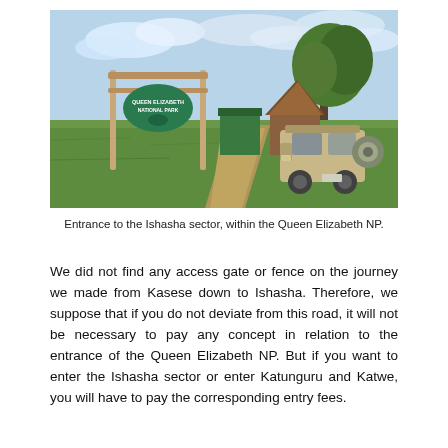[Figure (photo): Entrance to the Ishasha sector within Queen Elizabeth National Park. A wooden gate sign on posts reads 'Queen Elizabeth National Park' in green with a hippo silhouette. A 4WD vehicle is parked on a dirt path near a thatched-roof hut. Lush green grass and a large tree are visible under a partly cloudy sky.]
Entrance to the Ishasha sector, within the Queen Elizabeth NP.
We did not find any access gate or fence on the journey we made from Kasese down to Ishasha. Therefore, we suppose that if you do not deviate from this road, it will not be necessary to pay any concept in relation to the entrance of the Queen Elizabeth NP. But if you want to enter the Ishasha sector or enter Katunguru and Katwe, you will have to pay the corresponding entry fees.